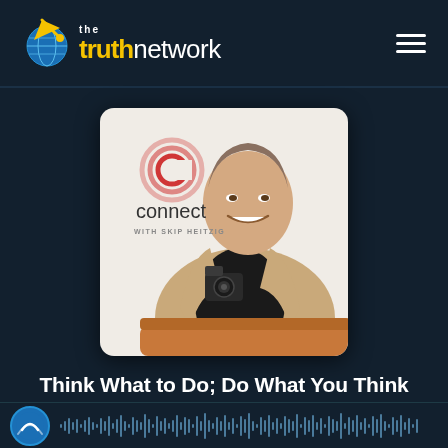[Figure (logo): The Truth Network logo with globe/satellite icon, yellow 'truth' and white 'network' text]
[Figure (photo): Connect with Skip Heitzig podcast cover art showing a middle-aged man in a beige jacket holding a camera, smiling, seated on an orange couch, with the 'connect with Skip Heitzig' logo overlaid on the upper left on a white background]
Think What to Do; Do What You Think
Connect with Skip Heitzig / Skip Heitzig